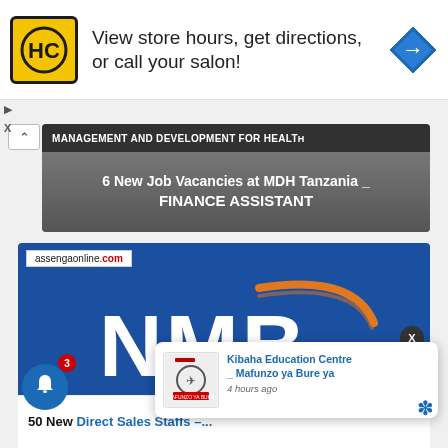[Figure (screenshot): Advertisement banner with HC logo, text 'View store hours, get directions, or call your salon!', and a blue navigation icon on the right]
[Figure (screenshot): MDH Tanzania job card showing 'MANAGEMENT AND DEVELOPMENT FOR HEALTH' header and title '6 New Job Vacancies at MDH Tanzania _ FINANCE ASSISTANT']
[Figure (screenshot): NMB Bank card with blue background showing assengaonline.com watermark and NMB logo with orange swoosh]
50 New Direct Sales Staffs –...
[Figure (screenshot): Kibaha Education Centre notification popup showing 'Kibaha Education Centre _ Mafunzo ya Bure ya' title and '4 hours ago' timestamp, with institution logo]